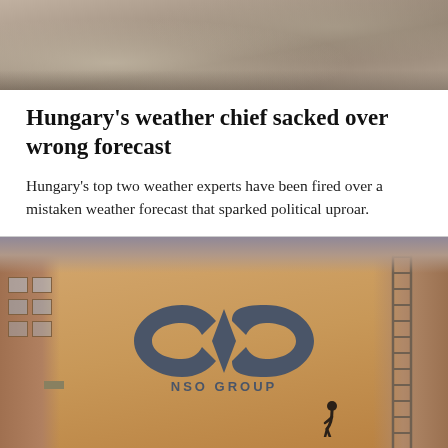[Figure (photo): Blurred photo at the top of the page, appears to show a blurry outdoor scene]
Hungary's weather chief sacked over wrong forecast
Hungary's top two weather experts have been fired over a mistaken weather forecast that sparked political uproar.
[Figure (photo): Photograph of the NSO Group building exterior showing the NSO GROUP logo on an orange/terracotta wall. A person is visible at the bottom of the image and a ladder is visible on the right side.]